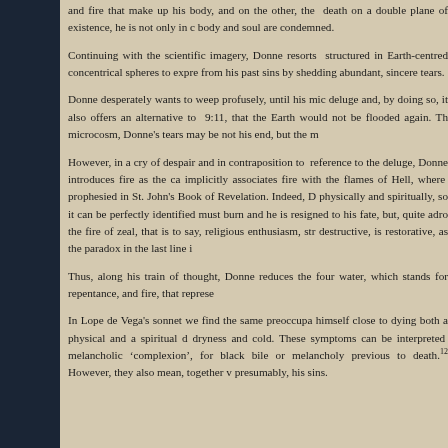and fire that make up his body, and on the other, the death on a double plane of existence, he is not only in c body and soul are condemned.
Continuing with the scientific imagery, Donne resorts structured in Earth-centred concentrical spheres to expre from his past sins by shedding abundant, sincere tears.
Donne desperately wants to weep profusely, until his mid deluge and, by doing so, it also offers an alternative to 9:11, that the Earth would not be flooded again. Th microcosm, Donne's tears may be not his end, but the m
However, in a cry of despair and in contraposition to reference to the deluge, Donne introduces fire as the ca implicitly associates fire with the flames of Hell, where prophesied in St. John's Book of Revelation. Indeed, D physically and spiritually, so it can be perfectly identified must burn and he is resigned to his fate, but, quite adro the fire of zeal, that is to say, religious enthusiasm, str destructive, is restorative, as the paradox in the last line i
Thus, along his train of thought, Donne reduces the four water, which stands for repentance, and fire, that represe
In Lope de Vega's sonnet we find the same preoccupa himself close to dying both a physical and a spiritual d dryness and cold. These symptoms can be interpreted melancholic 'complexion', for black bile or melancholy previous to death.12 However, they also mean, together v presumably, his sins.